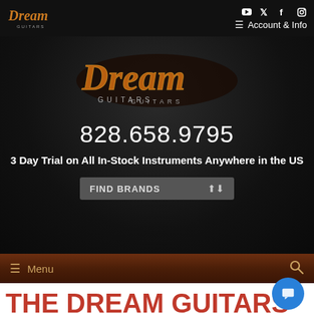Dream Guitars — Account & Info navigation with social icons
[Figure (logo): Dream Guitars script logo in gold/orange on dark background, centered in hero section]
828.658.9795
3 Day Trial on All In-Stock Instruments Anywhere in the US
FIND BRANDS
Menu
THE DREAM GUITARS BLOG